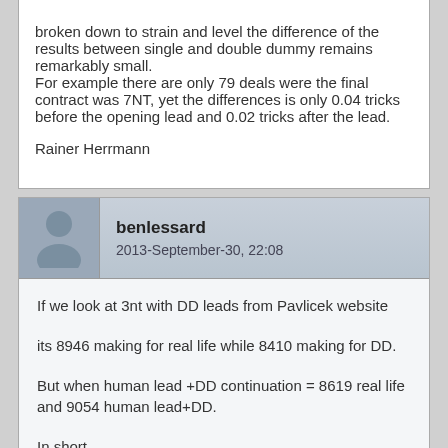broken down to strain and level the difference of the results between single and double dummy remains remarkably small.
For example there are only 79 deals were the final contract was 7NT, yet the differences is only 0.04 tricks before the opening lead and 0.02 tricks after the lead.

Rainer Herrmann
benlessard
2013-September-30, 22:08
If we look at 3nt with DD leads from Pavlicek website
its 8946 making for real life while 8410 making for DD.
But when human lead +DD continuation = 8619 real life and 9054 human lead+DD.
In short.
3NT will make slightly less than 70% IRL.
3nt will make 65% double dummy all the way